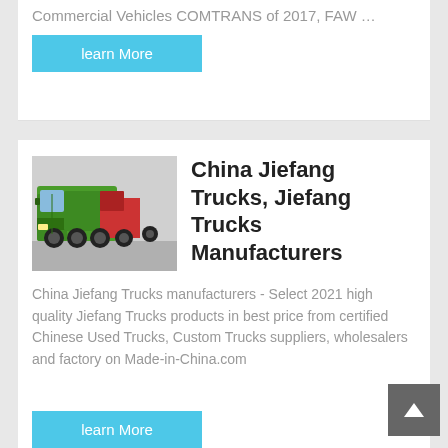Commercial Vehicles COMTRANS of 2017, FAW …
learn More
China Jiefang Trucks, Jiefang Trucks Manufacturers
[Figure (photo): Green Jiefang dump truck photographed from the front-left angle]
China Jiefang Trucks manufacturers - Select 2021 high quality Jiefang Trucks products in best price from certified Chinese Used Trucks, Custom Trucks suppliers, wholesalers and factory on Made-in-China.com
learn More